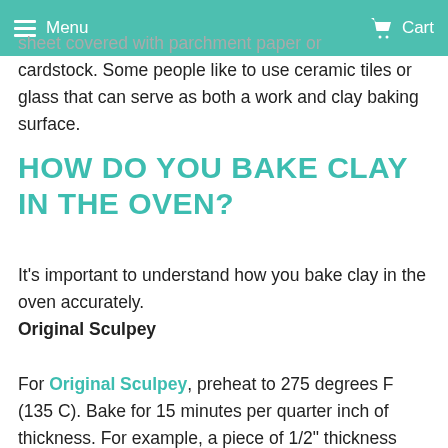Menu  Cart
sheet covered with parchment paper or cardstock. Some people like to use ceramic tiles or glass that can serve as both a work and clay baking surface.
HOW DO YOU BAKE CLAY IN THE OVEN?
It's important to understand how you bake clay in the oven accurately.
Original Sculpey

For Original Sculpey, preheat to 275 degrees F (135 C). Bake for 15 minutes per quarter inch of thickness. For example, a piece of 1/2" thickness should be cured for 30 minutes.